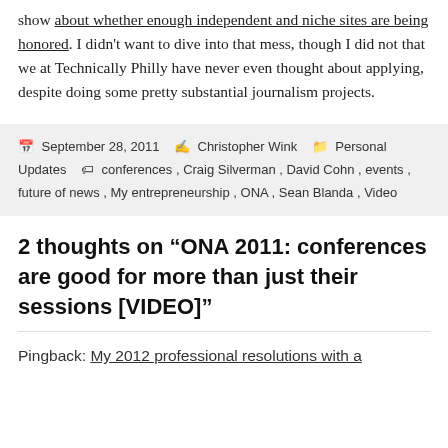show about whether enough independent and niche sites are being honored. I didn't want to dive into that mess, though I did not that we at Technically Philly have never even thought about applying, despite doing some pretty substantial journalism projects.
Posted September 28, 2011 Author Christopher Wink Categories Personal Updates Tags conferences, Craig Silverman, David Cohn, events, future of news, My entrepreneurship, ONA, Sean Blanda, Video
2 thoughts on “ONA 2011: conferences are good for more than just their sessions [VIDEO]”
Pingback: My 2012 professional resolutions with a